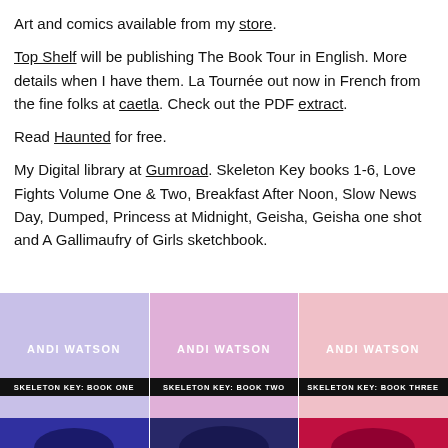Art and comics available from my store.
Top Shelf will be publishing The Book Tour in English. More details when I have them. La Tournée out now in French from the fine folks at caetla. Check out the PDF extract.
Read Haunted for free.
My Digital library at Gumroad. Skeleton Key books 1-6, Love Fights Volume One & Two, Breakfast After Noon, Slow News Day, Dumped, Princess at Midnight, Geisha, Geisha one shot and A Gallimaufry of Girls sketchbook.
[Figure (illustration): Three book covers shown side by side: Skeleton Key Book One (lavender background), Skeleton Key Book Two (pink/mauve background), Skeleton Key Book Three (light pink background), all by Andi Watson. Below those are partial views of additional book covers with blue and red backgrounds.]